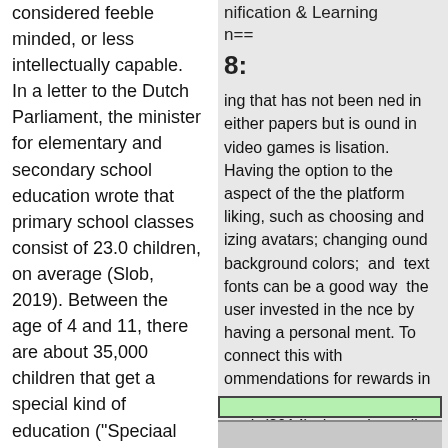considered feeble minded, or less intellectually capable. In a letter to the Dutch Parliament, the minister for elementary and secondary school education wrote that primary school classes consist of 23.0 children, on average (Slob, 2019). Between the age of 4 and 11, there are about 35,000 children that get a special kind of education ("Speciaal basisonderwijs," 2019). Furthermore, there are about 1,500,000 children in total that get primary education ("Ontwikkeling van
nification & Learning n==
8:
ing that has not been ned in either papers but is ound in video games is lisation. Having the option to the aspect of the the platform liking, such as choosing and izing avatars; changing ound background colors; and text fonts can be a good way the user invested in the nce by having a personal ment. To connect this with ommendations for rewards in earning platforms given by ova et al. (2014), the option to lize the platform could be d by gaining points for ating in lessons. This would ompleting a lesson would number of points or credits user can spend on alizing their account.